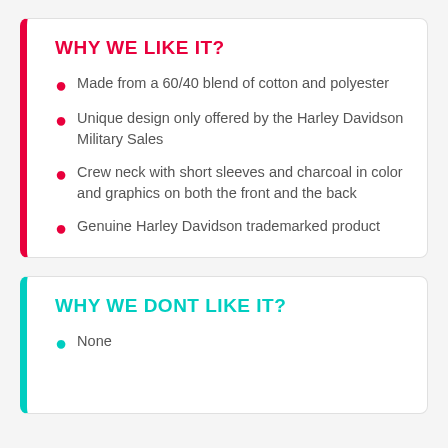WHY WE LIKE IT?
Made from a 60/40 blend of cotton and polyester
Unique design only offered by the Harley Davidson Military Sales
Crew neck with short sleeves and charcoal in color and graphics on both the front and the back
Genuine Harley Davidson trademarked product
WHY WE DONT LIKE IT?
None